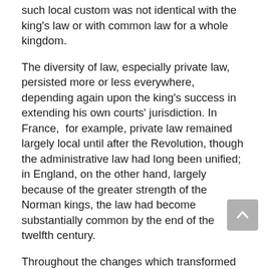such local custom was not identical with the king's law or with common law for a whole kingdom.
The diversity of law, especially private law, persisted more or less everywhere, depending again upon the king's success in extending his own courts' jurisdiction. In France,  for example, private law remained largely local until after the Revolution, though the administrative law had long been unified; in England, on the other hand, largely because of the greater strength of the Norman kings, the law had become substantially common by the end of the twelfth century.
Throughout the changes which transformed